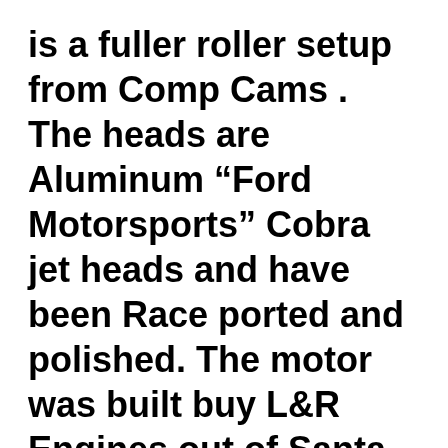is a fuller roller setup from Comp Cams . The heads are Aluminum “Ford Motorsports” Cobra jet heads and have been Race ported and polished. The motor was built buy L&R Engines out of Santa fe springs California. Its fed by a Mallory 140gph fuel pump through a 1950 Holley dominatorIt h